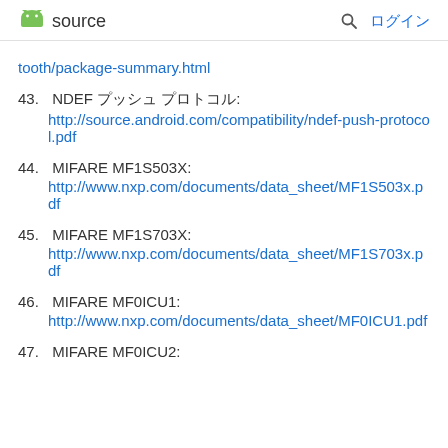source ログイン
tooth/package-summary.html
43. NDEF プッシュ プロトコル: http://source.android.com/compatibility/ndef-push-protocol.pdf
44. MIFARE MF1S503X: http://www.nxp.com/documents/data_sheet/MF1S503x.pdf
45. MIFARE MF1S703X: http://www.nxp.com/documents/data_sheet/MF1S703x.pdf
46. MIFARE MF0ICU1: http://www.nxp.com/documents/data_sheet/MF0ICU1.pdf
47. MIFARE MF0ICU2: